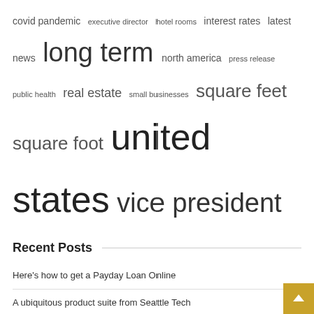covid pandemic  executive director  hotel rooms  interest rates  latest news  long term  north america  press release  public health  real estate  small businesses  square feet  square foot  united states  vice president
Recent Posts
Here's how to get a Payday Loan Online
A ubiquitous product suite from Seattle Tech
TikToker claims it was arrested for delivering UberEats to a Texas school
Zachary Bryant has been named pastry chef at the Four Seasons Hotel and Private Residences Nashville
Chinese government seeks to stabilize housing market with lower lending and rates